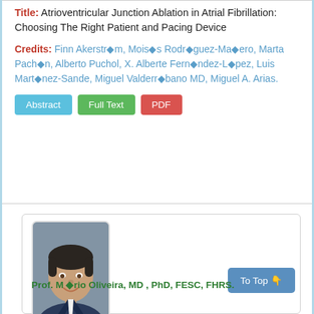Title: Atrioventricular Junction Ablation in Atrial Fibrillation: Choosing The Right Patient and Pacing Device
Credits: Finn Akerström, Moisés Rodríguez-Mañero, Marta Pachón, Alberto Puchol, X. Alberte Fernández-López, Luis Martínez-Sande, Miguel Valderrábano MD, Miguel A. Arias.
[Figure (photo): Portrait photo of Prof. Mário Oliveira, a man in a suit and tie, smiling]
Prof. Mário Oliveira, MD , PhD, FESC, FHRS.